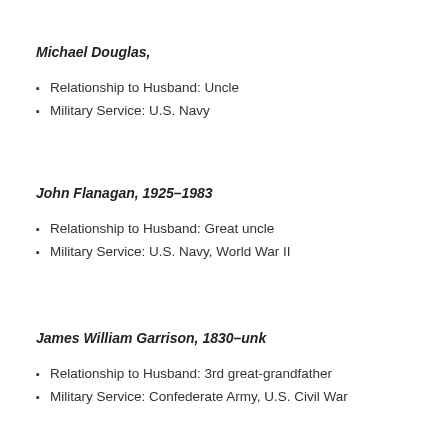Michael Douglas,
Relationship to Husband: Uncle
Military Service: U.S. Navy
John Flanagan, 1925–1983
Relationship to Husband: Great uncle
Military Service: U.S. Navy, World War II
James William Garrison, 1830–unk
Relationship to Husband: 3rd great-grandfather
Military Service: Confederate Army, U.S. Civil War